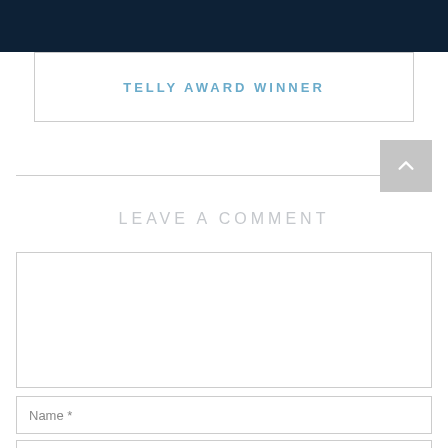[Figure (photo): Dark navy blue banner at top of page, partial image visible]
TELLY AWARD WINNER
LEAVE A COMMENT
LEAVE YOUR COMMENT
Name *
Email *